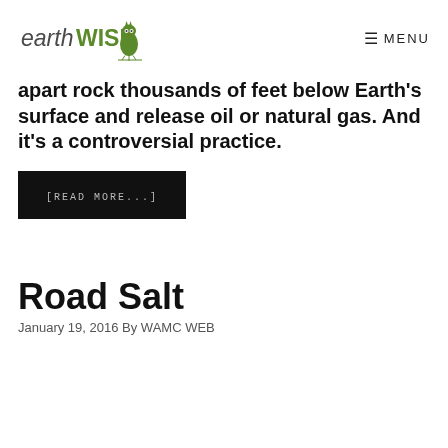[Figure (logo): earthWISE logo with green owl illustration]
apart rock thousands of feet below Earth's surface and release oil or natural gas.  And it's a controversial practice.
[READ MORE...]
Road Salt
January 19, 2016 By WAMC WEB